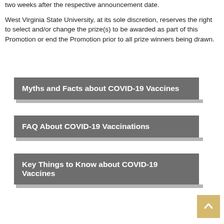two weeks after the respective announcement date.
West Virginia State University, at its sole discretion, reserves the right to select and/or change the prize(s) to be awarded as part of this Promotion or end the Promotion prior to all prize winners being drawn.
Myths and Facts about COVID-19 Vaccines
FAQ About COVID-19 Vaccinations
Key Things to Know about COVID-19 Vaccines